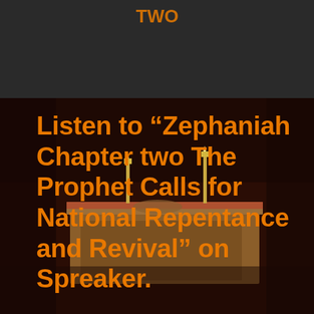[Figure (photo): Dark banner/header area with dark charcoal background at top of page, partially visible orange text/logo above]
[Figure (photo): Church altar photograph with dark reddish-brown interior, wooden pulpit/altar in center, candles on either side]
Listen to “Zephaniah Chapter two The Prophet Calls for National Repentance and Revival” on Spreaker.